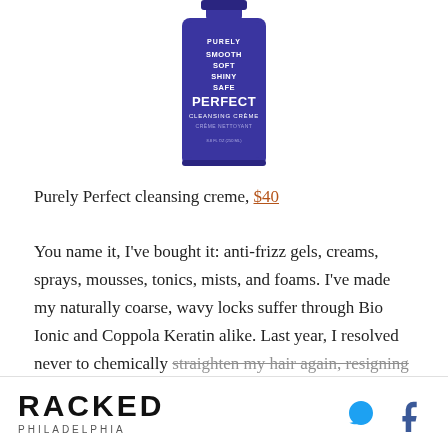[Figure (photo): Blue bottle of Purely Perfect Cleansing Creme product with white text on label reading PURELY SMOOTH SOFT SHINY SAFE PERFECT CLEANSING CREME]
Purely Perfect cleansing creme, $40
You name it, I've bought it: anti-frizz gels, creams, sprays, mousses, tonics, mists, and foams. I've made my naturally coarse, wavy locks suffer through Bio Ionic and Coppola Keratin alike. Last year, I resolved never to chemically straighten my hair again, resigning myself to dual hair
RACKED PHILADELPHIA